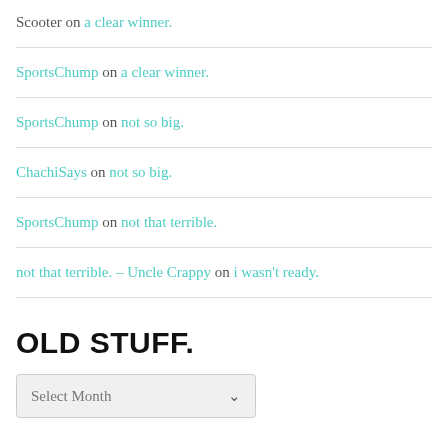Scooter on a clear winner.
SportsChump on a clear winner.
SportsChump on not so big.
ChachiSays on not so big.
SportsChump on not that terrible.
not that terrible. – Uncle Crappy on i wasn't ready.
OLD STUFF.
Select Month